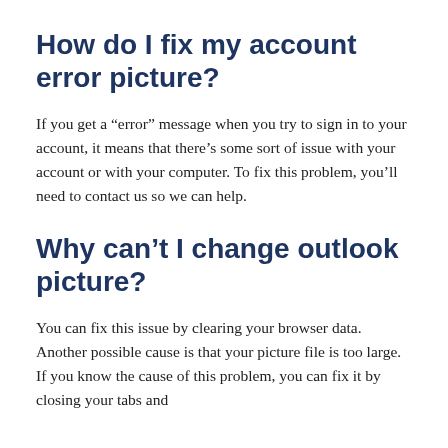How do I fix my account error picture?
If you get a “error” message when you try to sign in to your account, it means that there’s some sort of issue with your account or with your computer. To fix this problem, you’ll need to contact us so we can help.
Why can’t I change outlook picture?
You can fix this issue by clearing your browser data. Another possible cause is that your picture file is too large. If you know the cause of this problem, you can fix it by closing your tabs and